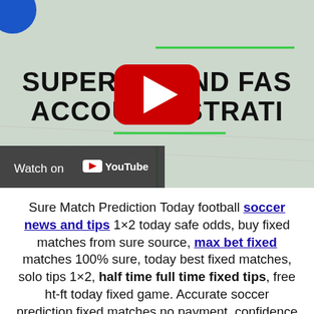[Figure (screenshot): YouTube video thumbnail showing text 'SUPER EASY AND FAST ACCOUNT REGISTRATION' with a YouTube play button overlay, green decorative lines, and a 'Watch on YouTube' bar at the bottom left.]
Sure Match Prediction Today football soccer news and tips 1×2 today safe odds, buy fixed matches from sure source, max bet fixed matches 100% sure, today best fixed matches, solo tips 1×2, half time full time fixed tips, free ht-ft today fixed game. Accurate soccer prediction fixed matches no payment, confidence fixed match, pay